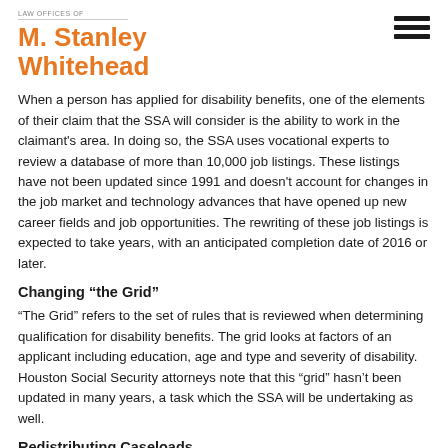LAW OFFICES OF M. Stanley Whitehead
When a person has applied for disability benefits, one of the elements of their claim that the SSA will consider is the ability to work in the claimant's area. In doing so, the SSA uses vocational experts to review a database of more than 10,000 job listings. These listings have not been updated since 1991 and doesn't account for changes in the job market and technology advances that have opened up new career fields and job opportunities. The rewriting of these job listings is expected to take years, with an anticipated completion date of 2016 or later.
Changing “the Grid”
“The Grid” refers to the set of rules that is reviewed when determining qualification for disability benefits. The grid looks at factors of an applicant including education, age and type and severity of disability. Houston Social Security attorneys note that this “grid” hasn’t been updated in many years, a task which the SSA will be undertaking as well.
Redistributing Caseloads